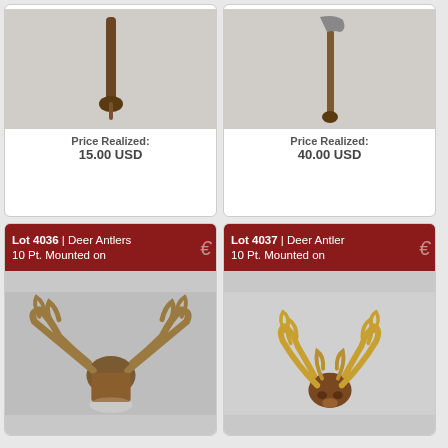[Figure (photo): Photo of a wooden walking cane or stick, shown vertically on a light background]
Price Realized:
15.00 USD
[Figure (photo): Photo of an axe with a long wooden handle, shown vertically on a light background]
Price Realized:
40.00 USD
Lot 4036 | Deer Antlers 10 Pt. Mounted on
[Figure (photo): Photo of deer antlers 10 point mounted on a wooden plaque, spread wide]
Lot 4037 | Deer Antler 10 Pt. Mounted on
[Figure (photo): Photo of deer antler 10 point mounted, shown with full rack visible]